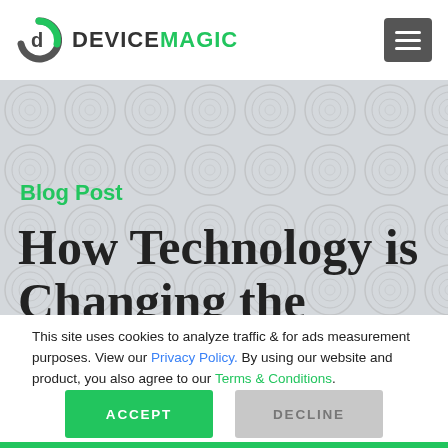[Figure (logo): Device Magic logo: circular arrow icon in green/dark grey and company name DEVICEMAGIC in dark grey and green]
[Figure (illustration): Hamburger menu icon (three horizontal lines) on dark grey rounded rectangle button]
[Figure (photo): Grey textured background pattern for hero section]
Blog Post
How Technology is Changing the
This site uses cookies to analyze traffic & for ads measurement purposes. View our Privacy Policy. By using our website and product, you also agree to our Terms & Conditions.
ACCEPT
DECLINE